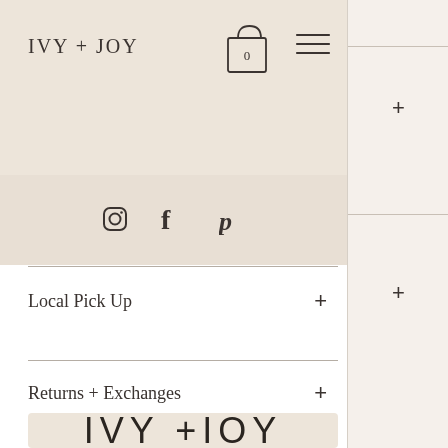IVY + JOY
[Figure (screenshot): Navigation bar with cart icon showing 0 items and hamburger menu icon]
[Figure (screenshot): Social media icons: Instagram, Facebook, Pinterest]
Local Pick Up +
Returns + Exchanges +
[Figure (logo): IVY + JOY logo large text on beige background]